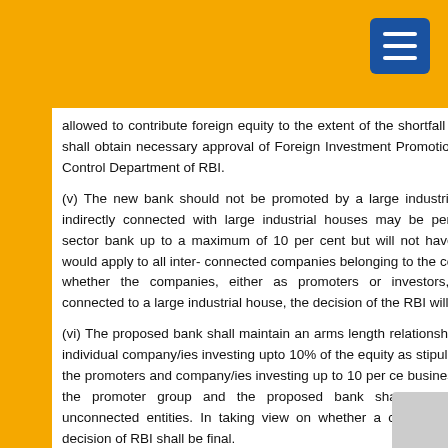allowed to contribute foreign equity to the extent of the shortfall in NRI bank shall obtain necessary approval of Foreign Investment Promotion Exchange Control Department of RBI.
(v) The new bank should not be promoted by a large industrial house. However, indirectly connected with large industrial houses may be permitted to participate in private sector bank up to a maximum of 10 per cent but will not have controlling interest. This ceiling would apply to all inter- connected companies belonging to the concerned industrial house. Based on whether the companies, either as promoters or investors, belong to or are connected to a large industrial house, the decision of the RBI will be final.
(vi) The proposed bank shall maintain an arms length relationship with businesses of the individual company/ies investing upto 10% of the equity as stipulated above and not extend facilities to the promoters and company/ies investing up to 10 per cent of equity and other business entities in the promoter group and the proposed bank shall treat them as totally independent and unconnected entities. In taking view on whether a company belongs to a Group or not, the decision of RBI shall be final.
(vii) Conversion of NBFCs into private sector banks
An NBFC with a good track record desiring conversion into a bank should:
The NBFC should have a minimum net worth of Rs.200 crore in...